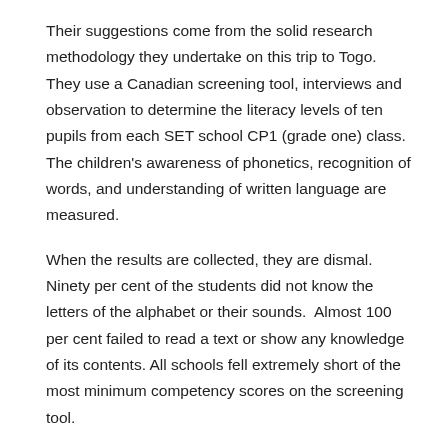Their suggestions come from the solid research methodology they undertake on this trip to Togo.  They use a Canadian screening tool, interviews and observation to determine the literacy levels of ten pupils from each SET school CP1 (grade one) class. The children's awareness of phonetics, recognition of words, and understanding of written language are measured.
When the results are collected, they are dismal.  Ninety per cent of the students did not know the letters of the alphabet or their sounds.  Almost 100 per cent failed to read a text or show any knowledge of its contents. All schools fell extremely short of the most minimum competency scores on the screening tool.
In another part of the evaluation the volunteers observe teachers' methods.  With teachers Serge and Angèle discuss ideas about the availability of educational materials and new teaching approaches.
They also...